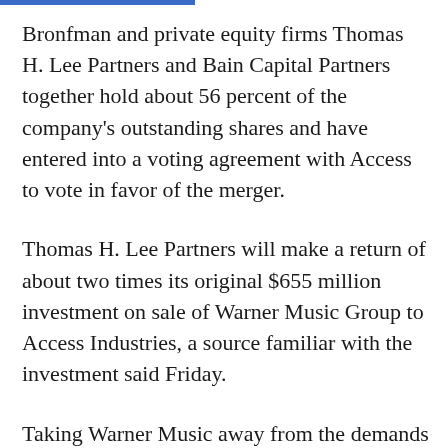Bronfman and private equity firms Thomas H. Lee Partners and Bain Capital Partners together hold about 56 percent of the company's outstanding shares and have entered into a voting agreement with Access to vote in favor of the merger.
Thomas H. Lee Partners will make a return of about two times its original $655 million investment on sale of Warner Music Group to Access Industries, a source familiar with the investment said Friday.
Taking Warner Music away from the demands of being publicly traded is seen as an opportunity for Warner Music executives to take a bigger gamble